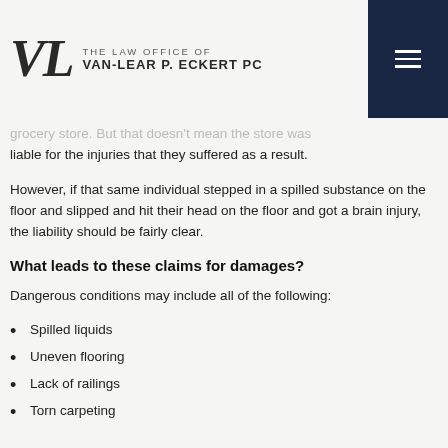THE LAW OFFICE OF VAN-LEAR P. ECKERT PC
grocery store. But that doesn't mean the store was liable for the injuries that they suffered as a result.
However, if that same individual stepped in a spilled substance on the floor and slipped and hit their head on the floor and got a brain injury, the liability should be fairly clear.
What leads to these claims for damages?
Dangerous conditions may include all of the following:
Spilled liquids
Uneven flooring
Lack of railings
Torn carpeting